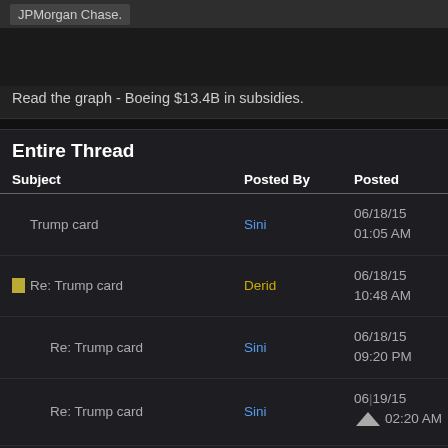JPMorgan Chase.
Read the graph - Boeing $13.4B in subsidies.
Entire Thread
| Subject | Posted By | Posted |
| --- | --- | --- |
| Trump card | Sini | 06/18/15 01:05 AM |
| Re: Trump card | Derid | 06/18/15 10:48 AM |
| Re: Trump card | Sini | 06/18/15 09:20 PM |
| Re: Trump card | Sini | 06/19/15 02:20 AM |
| Re: Trump card | Sini | 06/10/15 |